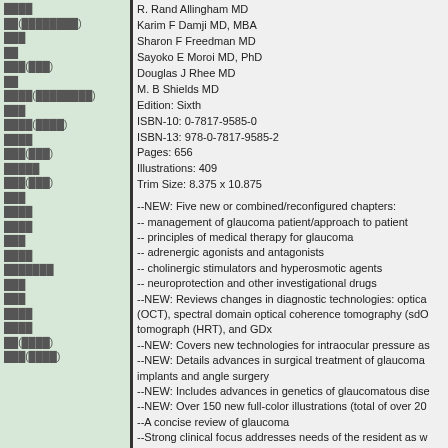R. Rand Allingham MD
Karim F Damji MD, MBA
Sharon F Freedman MD
Sayoko E Moroi MD, PhD
Douglas J Rhee MD
M. B Shields MD
Edition: Sixth
ISBN-10: 0-7817-9585-0
ISBN-13: 978-0-7817-9585-2
Pages: 656
Illustrations: 409
Trim Size: 8.375 x 10.875
--NEW: Five new or combined/reconfigured chapters:
-- management of glaucoma patient/approach to patient
-- principles of medical therapy for glaucoma
-- adrenergic agonists and antagonists
-- cholinergic stimulators and hyperosmotic agents
-- neuroprotection and other investigational drugs
--NEW: Reviews changes in diagnostic technologies: optical (OCT), spectral domain optical coherence tomography (sdO tomograph (HRT), and GDx
--NEW: Covers new technologies for intraocular pressure as
--NEW: Details advances in surgical treatment of glaucoma implants and angle surgery
--NEW: Includes advances in genetics of glaucomatous dise
--NEW: Over 150 new full-color illustrations (total of over 20
--A concise review of glaucoma
--Strong clinical focus addresses needs of the resident as w